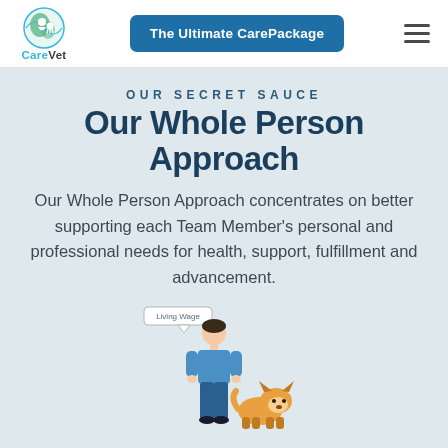CareVet | The Ultimate CarePackage
OUR SECRET SAUCE
Our Whole Person Approach
Our Whole Person Approach concentrates on better supporting each Team Member's personal and professional needs for health, support, fulfillment and advancement.
[Figure (illustration): Illustration of a veterinary nurse in blue scrubs standing next to a corgi dog, with a 'Living Wage' label callout above]